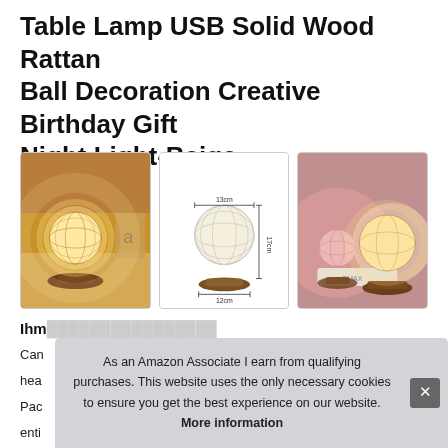Table Lamp USB Solid Wood Rattan Ball Decoration Creative Birthday Gift Night Light-Beige
[Figure (photo): Photo of beige rattan ball table lamp glowing warmly on a wooden base, placed on a surface with decorative items in the background]
[Figure (engineering-diagram): Dimension diagram of rattan ball lamp showing measurements: 13cm width at top, 17cm height on side, 12cm base width at bottom]
[Figure (photo): Photo of two rattan ball lamps glowing with pink and warm white light on wooden bases, showing USB cable]
Ihm...
Can... hea... Pac... enti...
As an Amazon Associate I earn from qualifying purchases. This website uses the only necessary cookies to ensure you get the best experience on our website. More information